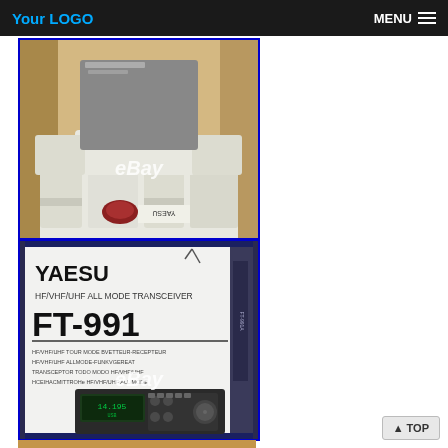Your LOGO   MENU
[Figure (photo): Yaesu FT-991 transceiver in open cardboard box showing foam packing material and wrapped unit, with eBay watermark]
[Figure (photo): Yaesu FT-991 HF/VHF/UHF All Mode Transceiver product box showing model name, specifications text in multiple languages, and image of the transceiver unit, with eBay watermark]
[Figure (photo): Partial view of a third image showing brown/tan surface]
▲ TOP